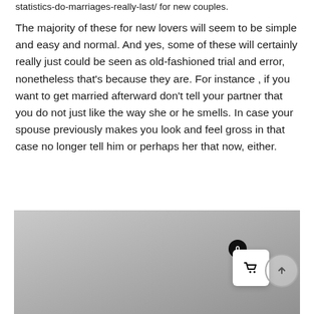statistics-do-marriages-really-last/ for new couples.
The majority of these for new lovers will seem to be simple and easy and normal. And yes, some of these will certainly really just could be seen as old-fashioned trial and error, nonetheless that’s because they are. For instance , if you want to get married afterward don’t tell your partner that you do not just like the way she or he smells. In case your spouse previously makes you look and feel gross in that case no longer tell him or perhaps her that now, either.
[Figure (photo): A gray/silver background image (photo placeholder) with a shopping cart UI overlay showing a badge with 0, a white cart icon box, and a scroll-to-top button circle on the right.]